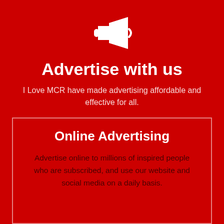[Figure (illustration): White megaphone/loudspeaker icon on red background]
Advertise with us
I Love MCR have made advertising affordable and effective for all.
Online Advertising
Advertise online to millions of inspired people who are subscribed, and use our website and social media on a daily basis.